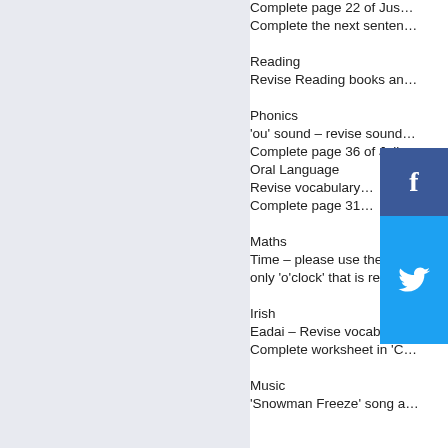Complete page 22 of…
Complete the next senten…
Reading
Revise Reading books an…
Phonics
'ou' sound – revise sound…
Complete page 36 of Jolly…
Oral Language
Revise vocabulary…
Complete page 31…
Maths
Time – please use the clo…
only 'o'clock' that is referr…
Irish
Eadai – Revise vocabular…
Complete worksheet in 'C…
Music
'Snowman Freeze' song a…